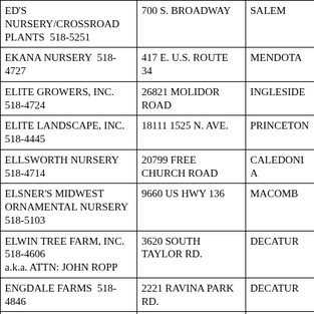| ED'S NURSERY/CROSSROAD PLANTS  518-5251 | 700 S. BROADWAY | SALEM |
| EKANA NURSERY  518-4727 | 417 E. U.S. ROUTE 34 | MENDOTA |
| ELITE GROWERS, INC.  518-4724 | 26821 MOLIDOR ROAD | INGLESIDE |
| ELITE LANDSCAPE, INC.  518-4445 | 18111 1525 N. AVE. | PRINCETON |
| ELLSWORTH NURSERY  518-4714 | 20799 FREE CHURCH ROAD | CALEDONIA |
| ELSNER'S MIDWEST ORNAMENTAL NURSERY  518-5103 | 9660 US HWY 136 | MACOMB |
| ELWIN TREE FARM, INC. 518-4606
a.k.a. ATTN: JOHN ROPP | 3620 SOUTH TAYLOR RD. | DECATUR |
| ENGDALE FARMS  518-4846 | 2221 RAVINA PARK RD. | DECATUR |
| EVERGREEN LANDSCAPE ASSOC.  518-4961 | 48W811 MELMS RD. | HAMPSHIRE |